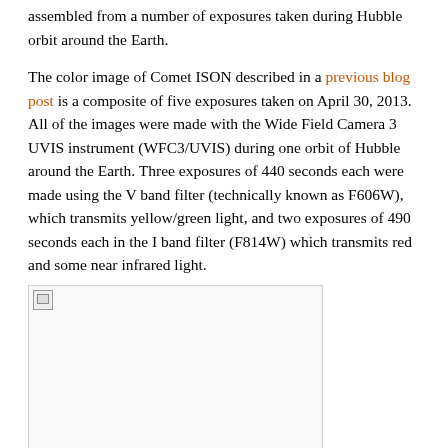assembled from a number of exposures taken during Hubble orbit around the Earth.
The color image of Comet ISON described in a previous blog post is a composite of five exposures taken on April 30, 2013. All of the images were made with the Wide Field Camera 3 UVIS instrument (WFC3/UVIS) during one orbit of Hubble around the Earth. Three exposures of 440 seconds each were made using the V band filter (technically known as F606W), which transmits yellow/green light, and two exposures of 490 seconds each in the I band filter (F814W) which transmits red and some near infrared light.
[Figure (photo): Broken/missing image placeholder showing a comet image that failed to load, displayed with a small broken image icon in the top-left corner of a bordered rectangle.]